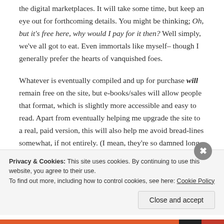the digital marketplaces. It will take some time, but keep an eye out for forthcoming details. You might be thinking; Oh, but it's free here, why would I pay for it then? Well simply, we've all got to eat. Even immortals like myself– though I generally prefer the hearts of vanquished foes.
Whatever is eventually compiled and up for purchase will remain free on the site, but e-books/sales will allow people that format, which is slightly more accessible and easy to read. Apart from eventually helping me upgrade the site to a real, paid version, this will also help me avoid bread-lines somewhat, if not entirely. (I mean, they're so damned long
Privacy & Cookies: This site uses cookies. By continuing to use this website, you agree to their use.
To find out more, including how to control cookies, see here: Cookie Policy
Close and accept